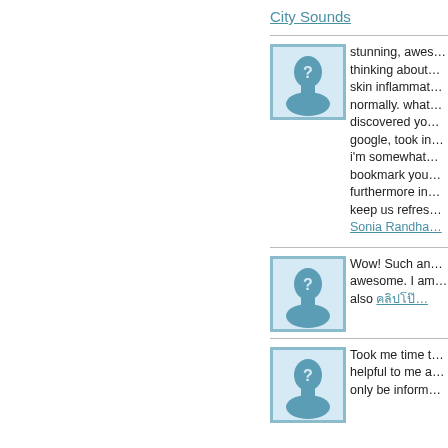City Sounds
[Figure (illustration): User avatar placeholder - silhouette of a head with question mark, blue/teal color scheme]
stunning, awes... thinking about... skin inflammat... normally. what... discovered yo... google, took in... i'm somewhat... bookmark you... furthermore in... keep us refres... Sonia Randha...
[Figure (illustration): User avatar placeholder - silhouette of a head with question mark, blue/teal color scheme]
Wow! Such an... awesome. I am... also [link]
[Figure (illustration): User avatar placeholder - silhouette of a head with question mark, blue/teal color scheme]
Took me time t... helpful to me a... only be inform...